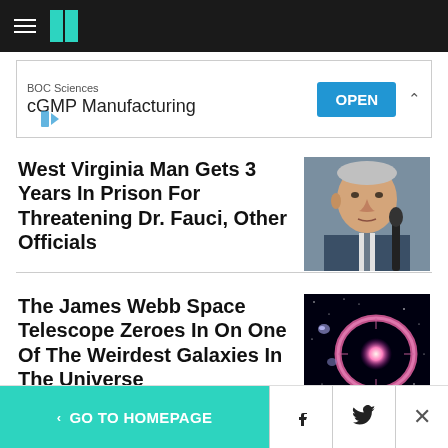HuffPost navigation header with hamburger menu and logo
[Figure (screenshot): Advertisement banner: BOC Sciences cGMP Manufacturing with OPEN button]
West Virginia Man Gets 3 Years In Prison For Threatening Dr. Fauci, Other Officials
[Figure (photo): Photo of Dr. Fauci, an older man in a suit speaking at a hearing]
The James Webb Space Telescope Zeroes In On One Of The Weirdest Galaxies In The Universe
[Figure (photo): Photo of the Cartwheel Galaxy taken by James Webb Space Telescope, showing a ring galaxy with pink and purple hues against black space]
< GO TO HOMEPAGE | Facebook share | Twitter share | Close